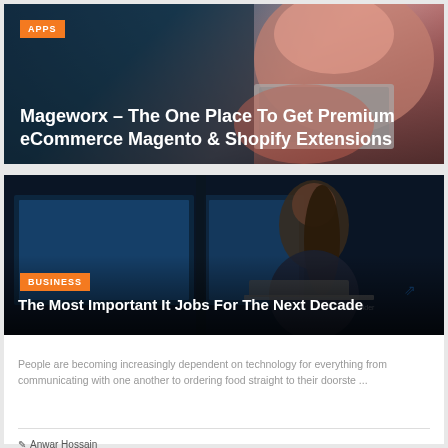[Figure (photo): Hero image of person using laptop, teal/dark background with pink overlay tones. Badge label APPS in orange. Title text overlaid: Mageworx – The One Place To Get Premium eCommerce Magento & Shopify Extensions]
Mageworx – The One Place To Get Premium eCommerce Magento & Shopify Extensions
[Figure (photo): Dark photo of a woman working on a laptop in a technology/conference environment with blue lighting. Badge label BUSINESS in orange. Title text overlaid: The Most Important It Jobs For The Next Decade]
The Most Important It Jobs For The Next Decade
People are becoming increasingly dependent on technology for everything from communicating with one another to ordering food straight to their doorste ...
Anwar Hossain
3 weeks ago